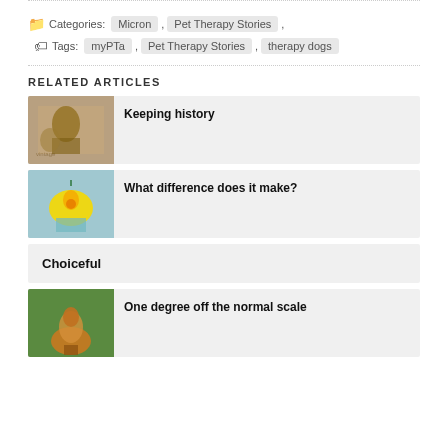Categories: Micron, Pet Therapy Stories, Tags: myPTa, Pet Therapy Stories, therapy dogs
RELATED ARTICLES
Keeping history
What difference does it make?
Choiceful
One degree off the normal scale